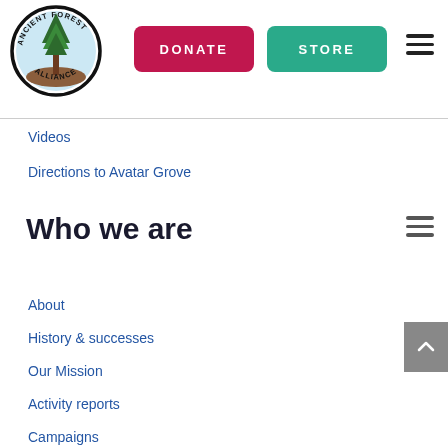[Figure (logo): Ancient Forest Alliance circular logo with a tall tree in the center]
DONATE
STORE
Videos
Directions to Avatar Grove
Who we are
About
History & successes
Our Mission
Activity reports
Campaigns